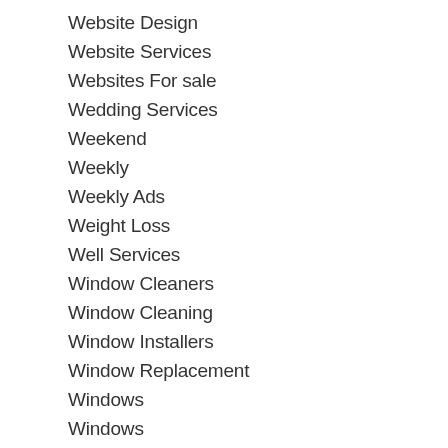Website Design
Website Services
Websites For sale
Wedding Services
Weekend
Weekly
Weekly Ads
Weight Loss
Well Services
Window Cleaners
Window Cleaning
Window Installers
Window Replacement
Windows
Windows